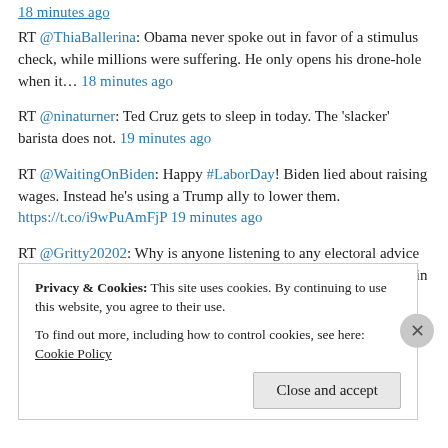18 minutes ago
RT @ThiaBallerina: Obama never spoke out in favor of a stimulus check, while millions were suffering. He only opens his drone-hole when it… 18 minutes ago
RT @ninaturner: Ted Cruz gets to sleep in today. The 'slacker' barista does not. 19 minutes ago
RT @WaitingOnBiden: Happy #LaborDay! Biden lied about raising wages. Instead he's using a Trump ally to lower them. https://t.co/i9wPuAmFjP 19 minutes ago
RT @Gritty20202: Why is anyone listening to any electoral advice from Hillary Clinton? She clearly has absolutely no idea how to win any e…
Privacy & Cookies: This site uses cookies. By continuing to use this website, you agree to their use.
To find out more, including how to control cookies, see here: Cookie Policy
Close and accept